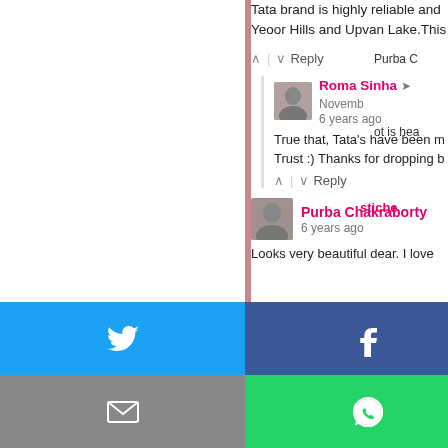Tata brand is highly reliable and Yeoor Hills and Upvan Lake.This
^ | v Reply
Roma Sinha → November 6 years ago
True that, Tata's have been m... Trust :) Thanks for dropping b...
^ | v Reply
Purba Chakraborty 6 years ago
Looks very beautiful dear. I love
Purba C
ot is hea
stiche
[Figure (infographic): Social share buttons: Twitter (blue), Facebook (dark blue), Email (grey), WhatsApp (green), SMS (blue), Other/green icon]